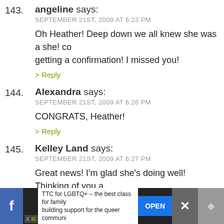143. angeline says: SEPTEMBER 21ST, 2009 AT 6:23 PM — Oh Heather! Deep down we all knew she was a she! co… getting a confirmation! I missed you! > Reply
144. Alexandra says: SEPTEMBER 21ST, 2009 AT 6:26 PM — CONGRATS, Heather! > Reply
145. Kelley Land says: SEPTEMBER 21ST, 2009 AT 6:27 PM — Great news! I'm glad she's doing well! Thinking of you a… .-= Kelley Land´s last blog ..Always Hoping =-. > Reply
146. Sarah M. says:
[Figure (screenshot): Ad banner at bottom: TTC for LGBTQ+ - the best class for family building support for the queer communi — with OPEN button and close X icon]